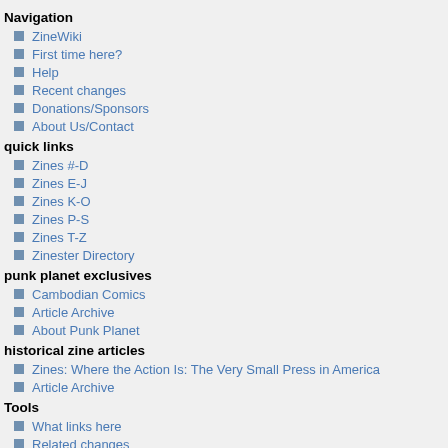Navigation
ZineWiki
First time here?
Help
Recent changes
Donations/Sponsors
About Us/Contact
quick links
Zines #-D
Zines E-J
Zines K-O
Zines P-S
Zines T-Z
Zinester Directory
punk planet exclusives
Cambodian Comics
Article Archive
About Punk Planet
historical zine articles
Zines: Where the Action Is: The Very Small Press in America
Article Archive
Tools
What links here
Related changes
Special pages